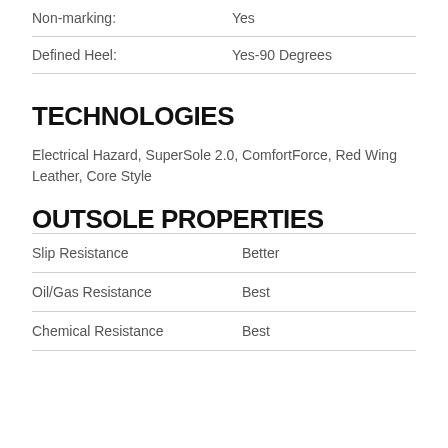| Non-marking: | Yes |
| Defined Heel: | Yes-90 Degrees |
TECHNOLOGIES
Electrical Hazard, SuperSole 2.0, ComfortForce, Red Wing Leather, Core Style
OUTSOLE PROPERTIES
| Slip Resistance | Better |
| Oil/Gas Resistance | Best |
| Chemical Resistance | Best |